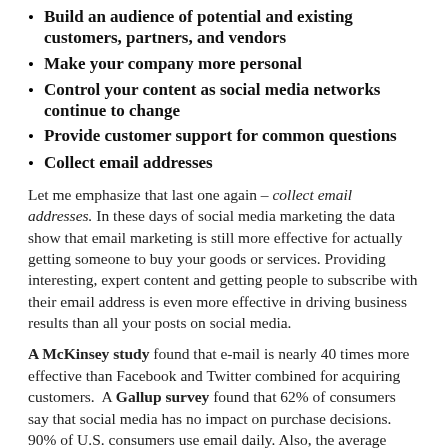Build an audience of potential and existing customers, partners, and vendors
Make your company more personal
Control your content as social media networks continue to change
Provide customer support for common questions
Collect email addresses
Let me emphasize that last one again – collect email addresses. In these days of social media marketing the data show that email marketing is still more effective for actually getting someone to buy your goods or services. Providing interesting, expert content and getting people to subscribe with their email address is even more effective in driving business results than all your posts on social media.
A McKinsey study found that e-mail is nearly 40 times more effective than Facebook and Twitter combined for acquiring customers.  A Gallup survey found that 62% of consumers say that social media has no impact on purchase decisions. 90% of U.S. consumers use email daily. Also, the average order value driven by